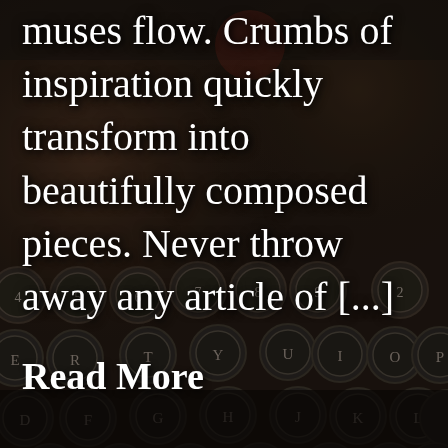[Figure (photo): Dark background photo of an old vintage typewriter keyboard with circular keys showing letters and numbers, dimly lit with dark brown and black tones]
muses flow. Crumbs of inspiration quickly transform into beautifully composed pieces. Never throw away any article of [...]
Read More